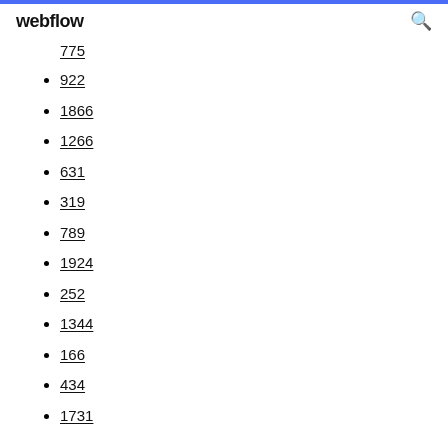webflow
775
922
1866
1266
631
319
789
1924
252
1344
166
434
1731